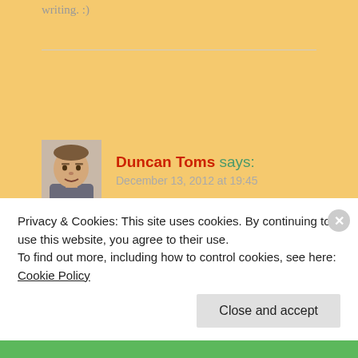writing. :)
Duncan Toms says:
December 13, 2012 at 19:45
Yes, for sure! I've been taking that approach for years, since reading Krishnamurti in the 90s, and that's very
Privacy & Cookies: This site uses cookies. By continuing to use this website, you agree to their use.
To find out more, including how to control cookies, see here: Cookie Policy